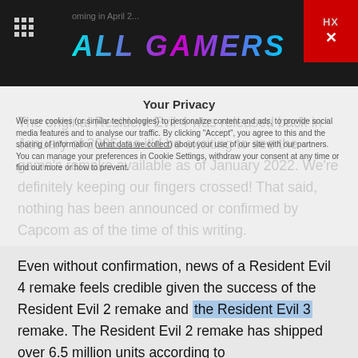ALL GAMERS
The original Resident Evil 4 was released back in January of 2005, so it'd be exciting to see the game's remake available as of January 2022. We're definitely keeping our fingers crossed! That said, nothing has been announced or confirmed by Capcom as of the time of this writing.
Even without confirmation, news of a Resident Evil 4 remake feels credible given the success of the Resident Evil 2 remake and the Resident Evil 3 remake. The Resident Evil 2 remake has shipped over 6.5 million units according to gamesindustry.biz, while the Resident Evil 3 remake has topped over two million in sales in the five days following its release. The Resident Evil remakes from Capcom are very, very popular.